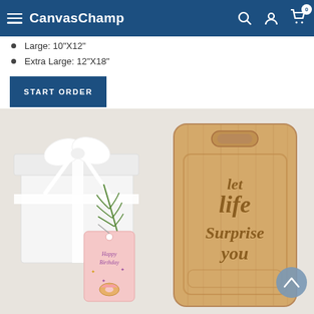CanvasChamp
Large: 10"X12"
Extra Large: 12"X18"
START ORDER
[Figure (photo): Product photo showing a wooden cutting board engraved with 'let life Surprise you' in script lettering, alongside a white gift box with white ribbon bow, a green fern leaf, and a pink Happy Birthday gift tag with a donut illustration. Image has a light grey/white background.]